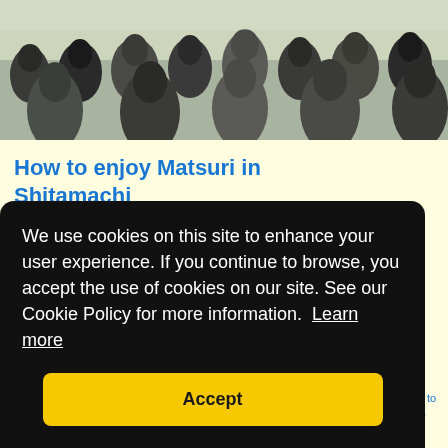[Figure (photo): Crowd of people gathered at an outdoor event, viewed from behind, in daylight]
How to enjoy Matsuri in Shitamachi
May is the most comfortable month in Japan. Sun shines, flowers bloom and wind blows softly. However, in Shitamachi, May is the season of Matsuri, the summer festivals of Shrines.Usually, the main events including Miya-Mikoshi is on Sunday. In the early morning Mikoshi is started from a shrine …(241 words)
Keiko, OTT
We use cookies on this site to enhance your user experience. If you continue to browse, you accept the use of cookies on our site. See our Cookie Policy for more information.  Learn more
Accept